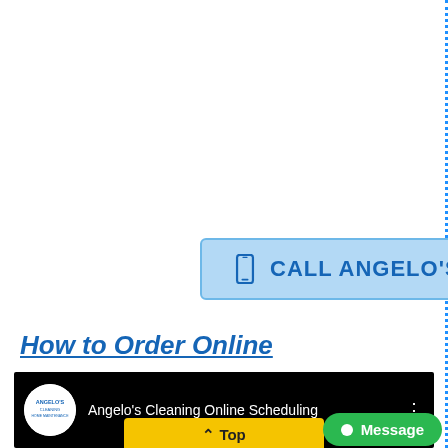[Figure (other): Call Angelo's button — light blue rounded rectangle with phone icon and text 'CALL ANGELO'S' in blue uppercase bold font]
How to Order Online
[Figure (screenshot): YouTube video thumbnail showing 'Angelo's Cleaning Online Scheduling' with Angelo's logo on black background, three-dot menu icon on right]
[Figure (other): Yellow 'Top' button with upward caret arrow at bottom center]
[Figure (other): Green 'Message' button with white dot at bottom right]